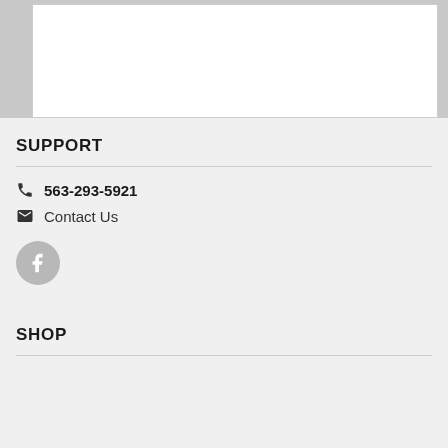[Figure (photo): Partial view of a concrete or stone surface with a white rectangular overlay]
SUPPORT
563-293-5921
Contact Us
[Figure (logo): Facebook circular button icon in gray]
SHOP